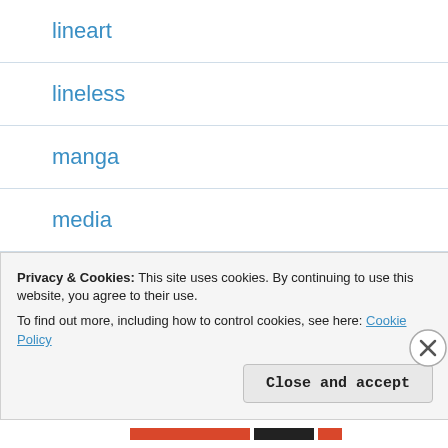lineart
lineless
manga
media
nature
new
popular
Privacy & Cookies: This site uses cookies. By continuing to use this website, you agree to their use.
To find out more, including how to control cookies, see here: Cookie Policy
Close and accept